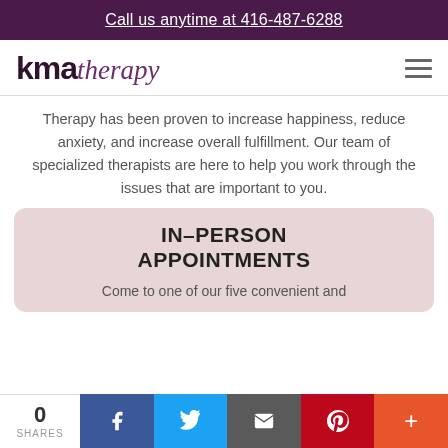Call us anytime at 416-487-6288
[Figure (logo): KMA Therapy logo with 'kma' in bold dark purple sans-serif and 'therapy' in cursive purple italic script]
Therapy has been proven to increase happiness, reduce anxiety, and increase overall fulfillment. Our team of specialized therapists are here to help you work through the issues that are important to you.
IN-PERSON APPOINTMENTS
Come to one of our five convenient and
0 SHARES | Facebook | Twitter | Email | Pinterest | More